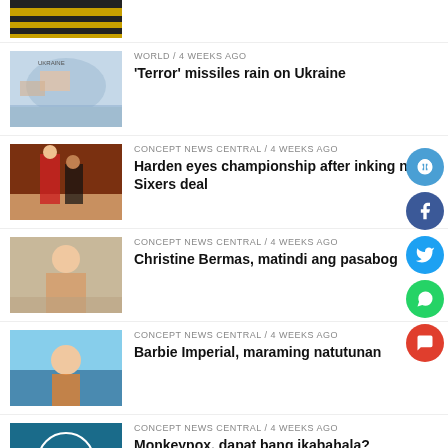[Figure (photo): Partial view of first news item thumbnail - yellow/black stripes]
WORLD / 4 weeks ago — 'Terror' missiles rain on Ukraine
CONCEPT NEWS CENTRAL / 4 weeks ago — Harden eyes championship after inking new Sixers deal
CONCEPT NEWS CENTRAL / 4 weeks ago — Christine Bermas, matindi ang pasabog
CONCEPT NEWS CENTRAL / 4 weeks ago — Barbie Imperial, maraming natutunan
CONCEPT NEWS CENTRAL / 4 weeks ago — Monkeypox, dapat bang ikabahala?